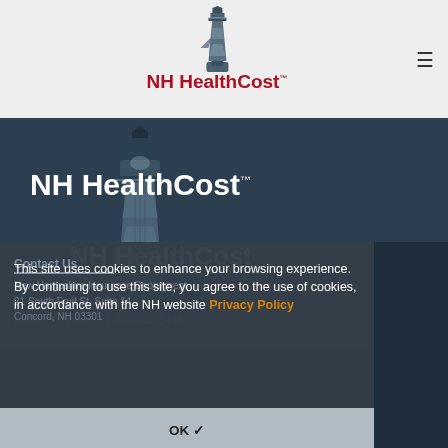[Figure (logo): NH HealthCost lighthouse logo with red and dark text on light gray header background]
[Figure (logo): NH HealthCost lighthouse logo in white/gray on dark navy background]
Contact Us
New Hampshire Insurance Department
21 South Fruit St, Suite 14
Concord, NH 03301
(603) 271-2261 or 1-800-852-3416
This site uses cookies to enhance your browsing experience. By continuing to use this site, you agree to the use of cookies, in accordance with the NH website Privacy Policy
OK ✓